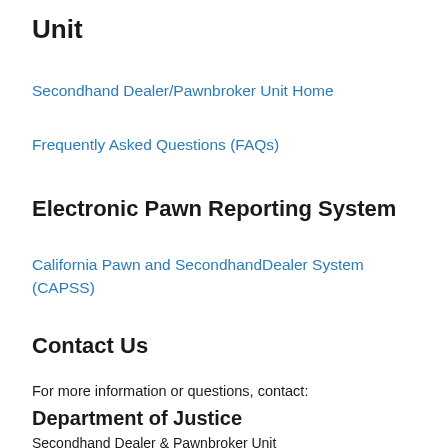Unit
Secondhand Dealer/Pawnbroker Unit Home
Frequently Asked Questions (FAQs)
Electronic Pawn Reporting System
California Pawn and SecondhandDealer System (CAPSS)
Contact Us
For more information or questions, contact:
Department of Justice
Secondhand Dealer & Pawnbroker Unit